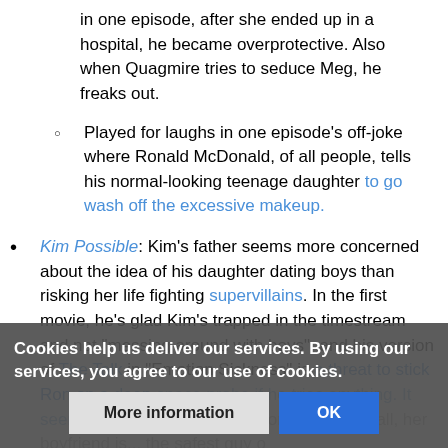in one episode, after she ended up in a hospital, he became overprotective. Also when Quagmire tries to seduce Meg, he freaks out.
Played for laughs in one episode's off-joke where Ronald McDonald, of all people, tells his normal-looking teenage daughter to go wash off the excessive makeup.
Kim Possible: Kim's father seems more concerned about the idea of his daughter dating boys than risking her life fighting supervillains. In the first movie, he's glad Kim's trapped in the timestream and not "messing around with boys", and his version of The Talk in "Emotion Sickness" is a threat to stick Ron on a deep space probe if he tries anything. It seems to be lessening in season four—after all, her boyfriend is... the safest guy o
Cookies help us deliver our services. By using our services, you agree to our use of cookies.
More information | OK